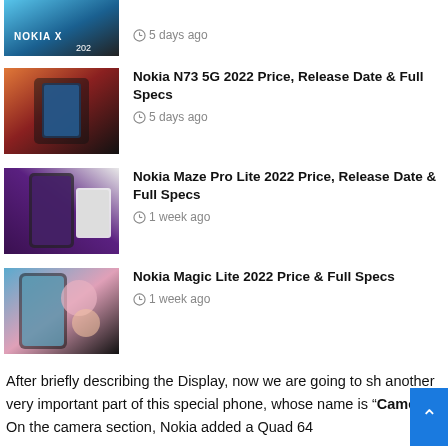[Figure (photo): Nokia X 2022 phone thumbnail image (partially cut off at top)]
5 days ago
[Figure (photo): Nokia N73 5G phone thumbnail image]
Nokia N73 5G 2022 Price, Release Date & Full Specs
5 days ago
[Figure (photo): Nokia Maze Pro Lite phone thumbnail image]
Nokia Maze Pro Lite 2022 Price, Release Date & Full Specs
1 week ago
[Figure (photo): Nokia Magic Lite phone thumbnail image]
Nokia Magic Lite 2022 Price & Full Specs
1 week ago
After briefly describing the Display, now we are going to sh another very important part of this special phone, whose name is “Camera”. On the camera section, Nokia added a Quad 64